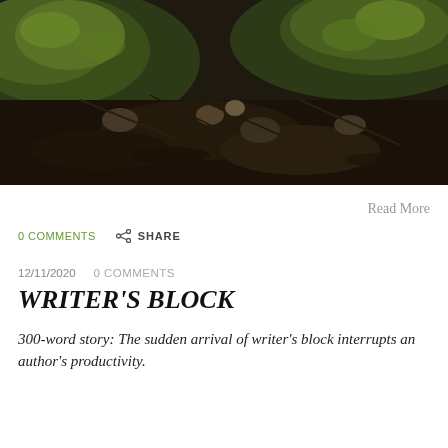[Figure (photo): Close-up nature photograph of mossy forest floor with rocks, twigs, and soil in dark muted tones with green moss patches]
Read More
0 COMMENTS   SHARE
12/11/2020   0 COMMENTS
WRITER'S BLOCK
300-word story: The sudden arrival of writer's block interrupts an author's productivity.